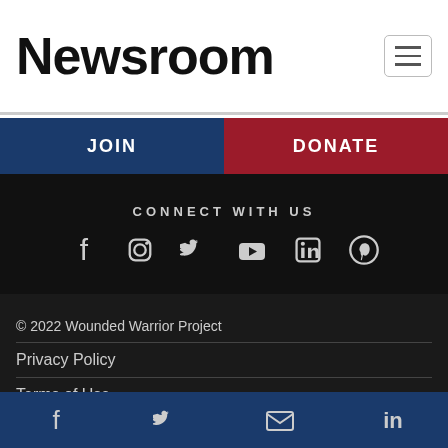Newsroom
JOIN
DONATE
CONNECT WITH US
[Figure (infographic): Social media icons: Facebook, Instagram, Twitter, YouTube, LinkedIn, Pinterest]
© 2022 Wounded Warrior Project
Privacy Policy
Terms of Use
State Notices
Sitemap
Wounded Warrior Project ® is a tax-exempt 501(C)(3) nonprofit organization CFC #11425
[Figure (infographic): Bottom bar social icons: Facebook, Twitter, Email, LinkedIn]